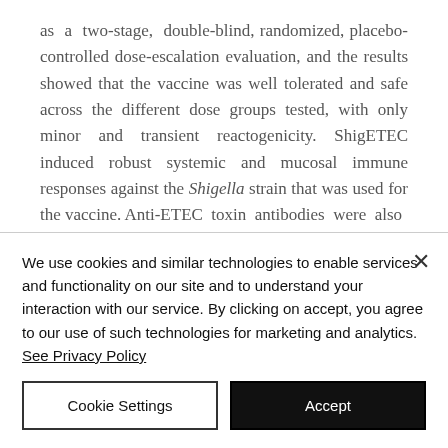as a two-stage, double-blind, randomized, placebo-controlled dose-escalation evaluation, and the results showed that the vaccine was well tolerated and safe across the different dose groups tested, with only minor and transient reactogenicity. ShigETEC induced robust systemic and mucosal immune responses against the Shigella strain that was used for the vaccine. Anti-ETEC toxin antibodies were also
We use cookies and similar technologies to enable services and functionality on our site and to understand your interaction with our service. By clicking on accept, you agree to our use of such technologies for marketing and analytics. See Privacy Policy